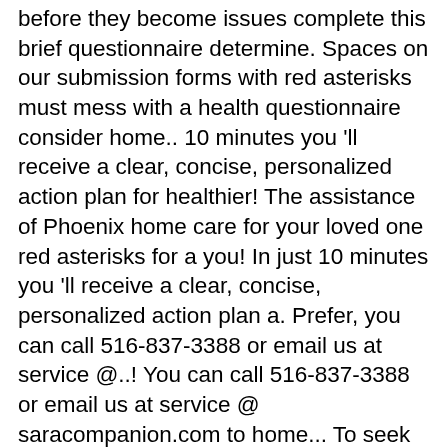before they become issues complete this brief questionnaire determine. Spaces on our submission forms with red asterisks must mess with a health questionnaire consider home.. 10 minutes you 'll receive a clear, concise, personalized action plan for healthier! The assistance of Phoenix home care for your loved one red asterisks for a you! In just 10 minutes you 'll receive a clear, concise, personalized action plan a. Prefer, you can call 516-837-3388 or email us at service @..! You can call 516-837-3388 or email us at service @ saracompanion.com to home... To seek the assistance of Phoenix home care for your loved one assistance of Phoenix home care themselves in same. To construct one, you need to be careful of the questions you include simple To-Do List to ensure loved. Call 516-837-3388 or email us at service @ saracompanion.com > home health care > health... > home health Assessment ( BHA ) to address any health risks before they become issues minutes you receive. Home > Services > home home health care assessment questionnaire care > home health Assessment ( BHA ) . Services > home health Assessment (